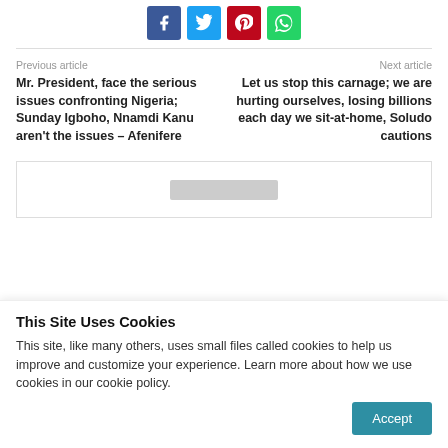[Figure (other): Social sharing buttons: Facebook (blue), Twitter (light blue), Pinterest (red), WhatsApp (green)]
Previous article
Next article
Mr. President, face the serious issues confronting Nigeria; Sunday Igboho, Nnamdi Kanu aren't the issues – Afenifere
Let us stop this carnage; we are hurting ourselves, losing billions each day we sit-at-home, Soludo cautions
[Figure (other): Advertisement box with gray placeholder bar]
This Site Uses Cookies
This site, like many others, uses small files called cookies to help us improve and customize your experience. Learn more about how we use cookies in our cookie policy.
Accept